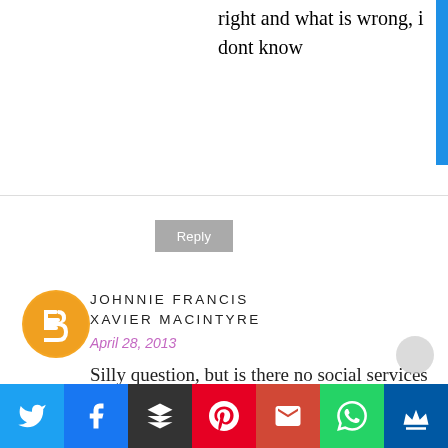right and what is wrong, i dont know
Reply
JOHNNIE FRANCIS XAVIER MACINTYRE
April 28, 2013
Silly question, but is there no social services agency you can report these less than qualified parents to? Perhaps the child